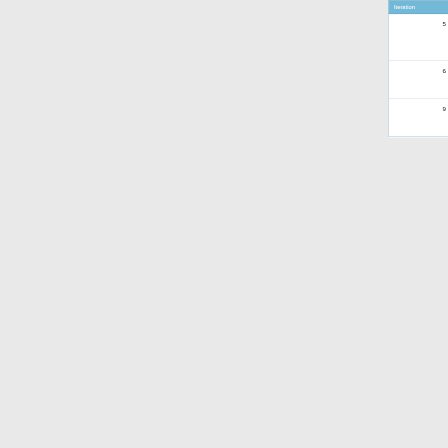| Iteration | Date of Request | Change |
| --- | --- | --- |
| 5 | 18 September 2015 | Re-v... authe... down... uniqu... |
| 6 | 6 October 2015 | A con... (eg. n... surve... |
| 9 | 6 November 2015 | To en... partic... addre... |
—
This page was last modified on 22 November 2015, at 15:22.
Privacy policy   About IS480   Disclaimers
[Figure (logo): Powered by MediaWiki logo badge]